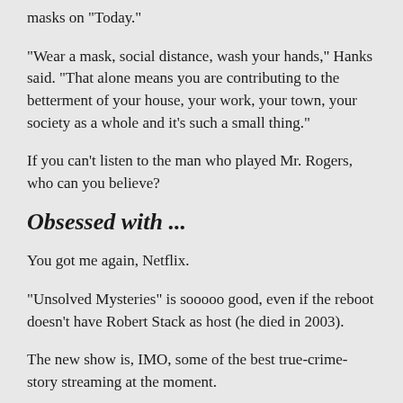masks on "Today."
"Wear a mask, social distance, wash your hands," Hanks said. "That alone means you are contributing to the betterment of your house, your work, your town, your society as a whole and it's such a small thing."
If you can't listen to the man who played Mr. Rogers, who can you believe?
Obsessed with ...
You got me again, Netflix.
"Unsolved Mysteries" is sooooo good, even if the reboot doesn't have Robert Stack as host (he died in 2003).
The new show is, IMO, some of the best true-crime-story streaming at the moment.
The first episode followed the case of aspiring screenwriter Rey Rivera, who died in 2006 in my hometown of